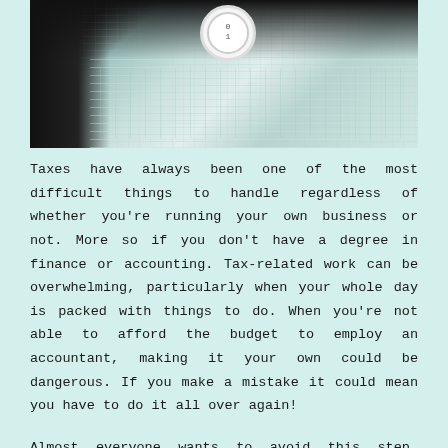[Figure (photo): Photo of tax forms/documents on a table with a dice or round object on top, partially visible at the top of the page]
Taxes have always been one of the most difficult things to handle regardless of whether you're running your own business or not. More so if you don't have a degree in finance or accounting. Tax-related work can be overwhelming, particularly when your whole day is packed with things to do. When you're not able to afford the budget to employ an accountant, making it your own could be dangerous. If you make a mistake it could mean you have to do it all over again!
Almost everyone wants to avoid this step. However, since it's mandatory, we have no choice.
What can we do about it?